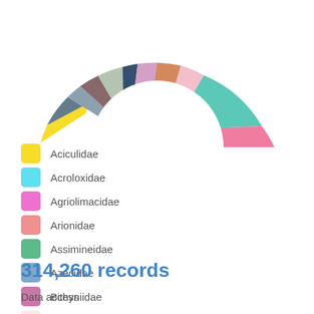[Figure (donut-chart): Partial donut/pie chart showing colored segments for various mollusca families]
Aciculidae
Acroloxidae
Agriolimacidae
Arionidae
Assimineidae
Azecidae
Bithyniidae
Boettgerillidae
Carychiidae
Chondrinidae
Clausiliidae
314,260 records
Data access